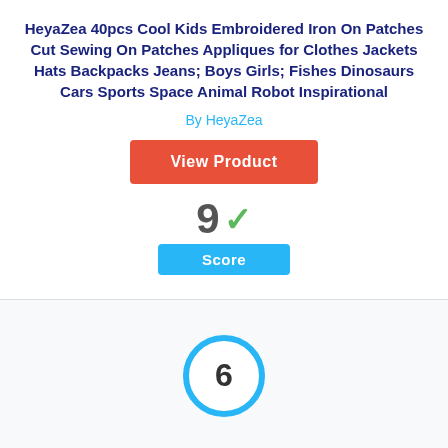HeyaZea 40pcs Cool Kids Embroidered Iron On Patches Cut Sewing On Patches Appliques for Clothes Jackets Hats Backpacks Jeans; Boys Girls; Fishes Dinosaurs Cars Sports Space Animal Robot Inspirational
By HeyaZea
View Product
[Figure (infographic): Score display showing '9' with a green checkmark and a cyan 'Score' label badge below]
[Figure (infographic): Circular score badge with cyan border showing the number 6 in the center]